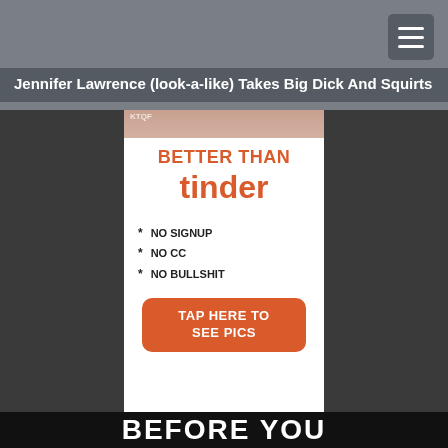Jennifer Lawrence (look-a-like) Takes Big Dick And Squirts
[Figure (screenshot): Advertisement styled like a dating app promo. White card with orange text reading 'BETTER THAN tinder' followed by bullet points '* NO SIGNUP', '* NO CC', '* NO BULLSHIT', and an orange button reading 'TAP HERE TO SEE PICS'. Below the card a dark strip with 'BEFORE YOU' text.]